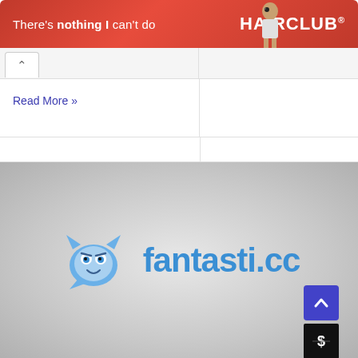[Figure (infographic): HairClub advertisement banner with red background, text 'There's nothing I can't do' and person image, HAIRCLUB logo on right]
Read More »
[Figure (logo): Fantasti.cc logo with blue owl/demon mascot icon on left and 'Fantasti.cc' text in blue on right, on gray radial gradient background]